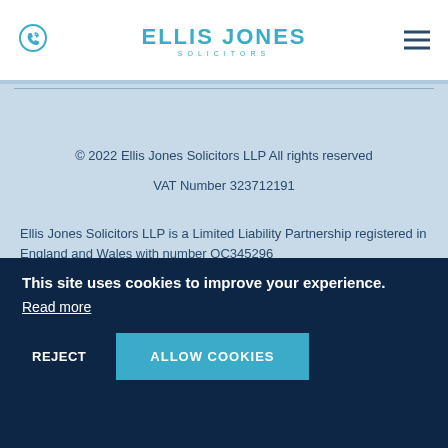[Figure (logo): Ellis Jones Solicitors logo with phone icon and hamburger menu]
© 2022 Ellis Jones Solicitors LLP All rights reserved
VAT Number 323712191
Ellis Jones Solicitors LLP is a Limited Liability Partnership registered in England and Wales with number OC345296
This site uses cookies to improve your experience.
Read more
REJECT
ALLOW COOKIES